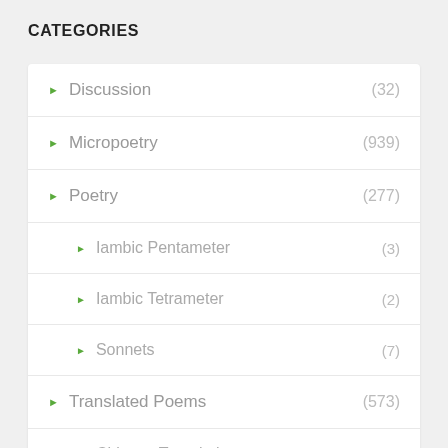CATEGORIES
Discussion (32)
Micropoetry (939)
Poetry (277)
Iambic Pentameter (3)
Iambic Tetrameter (2)
Sonnets (7)
Translated Poems (573)
Chinese Translations (277)
French Translations (10)